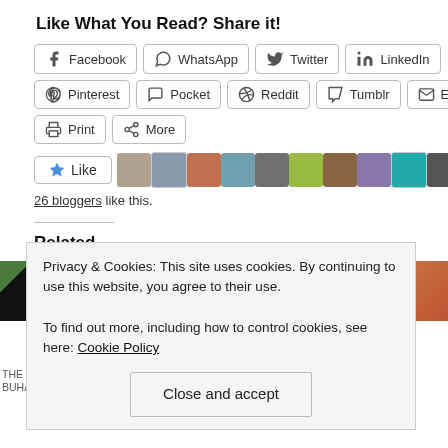Like What You Read? Share it!
[Figure (screenshot): Social share buttons: Facebook, WhatsApp, Twitter, LinkedIn, Pinterest, Pocket, Reddit, Tumblr, Email, Print, More]
[Figure (screenshot): Like button and 26 blogger avatars]
26 bloggers like this.
Related
[Figure (screenshot): Related article thumbnails showing article covers]
Privacy & Cookies: This site uses cookies. By continuing to use this website, you agree to their use.
To find out more, including how to control cookies, see here: Cookie Policy
Close and accept
THE GROSS MISCONDUCTS OF PRESIDENT BUHARI | by Ayo Sogunro
SOME MORE ABU ON WOLE SOYI... MORONS | by Ayo Sogunro